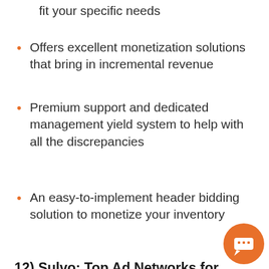fit your specific needs
Offers excellent monetization solutions that bring in incremental revenue
Premium support and dedicated management yield system to help with all the discrepancies
An easy-to-implement header bidding solution to monetize your inventory
12) Sulvo: Top Ad Networks for Premium Publishers